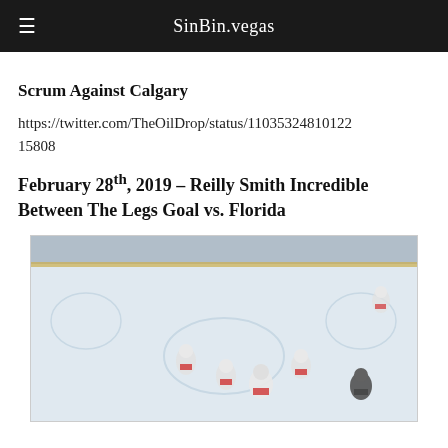SinBin.vegas
Scrum Against Calgary
https://twitter.com/TheOilDrop/status/110353248101221 5808
February 28th, 2019 – Reilly Smith Incredible Between The Legs Goal vs. Florida
[Figure (photo): Aerial view of a hockey ice rink during a game, showing multiple players on the ice with red and white uniforms, and a darker player near the boards. The rink has visible face-off circles.]